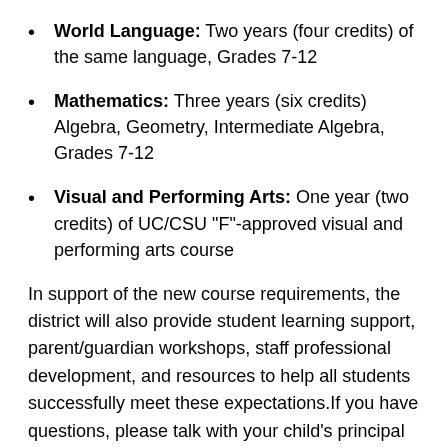World Language: Two years (four credits) of the same language, Grades 7-12
Mathematics: Three years (six credits) Algebra, Geometry, Intermediate Algebra, Grades 7-12
Visual and Performing Arts: One year (two credits) of UC/CSU "F"-approved visual and performing arts course
In support of the new course requirements, the district will also provide student learning support, parent/guardian workshops, staff professional development, and resources to help all students successfully meet these expectations.If you have questions, please talk with your child's principal or